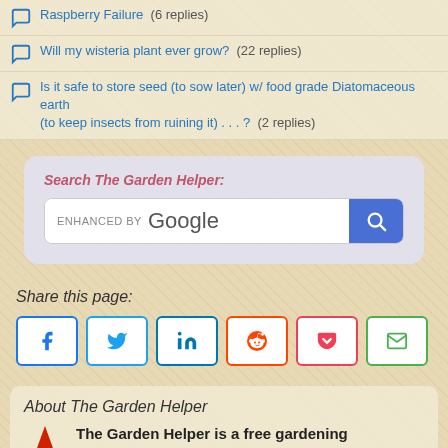Raspberry Failure (6 replies)
Will my wisteria plant ever grow? (22 replies)
Is it safe to store seed (to sow later) w/ food grade Diatomaceous earth (to keep insects from ruining it) . . . ? (2 replies)
[Figure (screenshot): Search The Garden Helper box with Google enhanced search bar and blue search button]
Share this page:
[Figure (infographic): Social share buttons: Facebook, Twitter, LinkedIn, Reddit, Pocket, Email]
About The Garden Helper
The Garden Helper is a free gardening